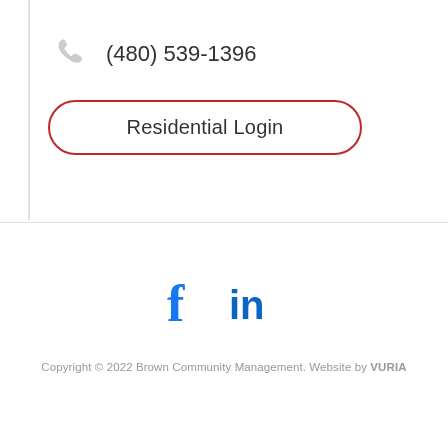(480) 539-1396
Residential Login
[Figure (illustration): Social media icons: Facebook (f) and LinkedIn (in) in blue]
Copyright © 2022 Brown Community Management. Website by VURIA